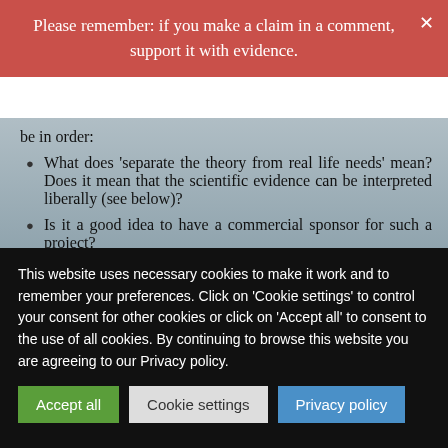Please remember: if you make a claim in a comment, support it with evidence.
be in order:
What does 'separate the theory from real life needs' mean? Does it mean that the scientific evidence can be interpreted liberally (see below)?
Is it a good idea to have a commercial sponsor for such a project?
Is it wise that the main person in charge is on the payroll of a manufacturer of dietary supplements?
Is there any oversight to minimise undue bias and prevent the public from being misled?
Is it really true that all people involved have academic lives?
This website uses necessary cookies to make it work and to remember your preferences. Click on 'Cookie settings' to control your consent for other cookies or click on 'Accept all' to consent to the use of all cookies. By continuing to browse this website you are agreeing to our Privacy policy.